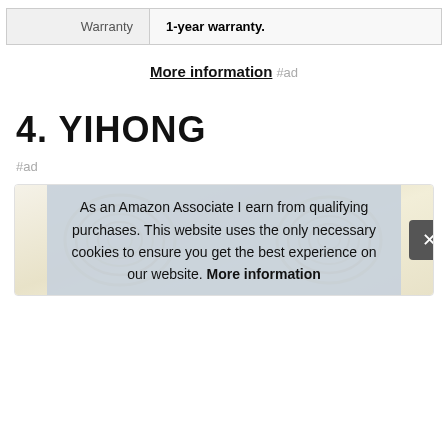| Warranty |  |
| --- | --- |
| Warranty | 1-year warranty. |
More information #ad
4. YIHONG
#ad
[Figure (photo): Product photo of YIHONG fairy lights coils inside a rounded box]
As an Amazon Associate I earn from qualifying purchases. This website uses the only necessary cookies to ensure you get the best experience on our website. More information